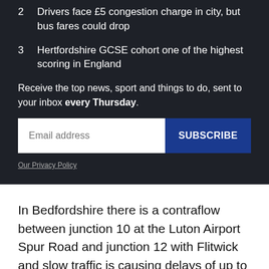2  Drivers face £5 congestion charge in city, but bus fares could drop
3  Hertfordshire GCSE cohort one of the highest scoring in England
Receive the top news, sport and things to do, sent to your inbox every Thursday.
In Bedfordshire there is a contraflow between junction 10 at the Luton Airport Spur Road and junction 12 with Flitwick and slow traffic is causing delays of up to 30